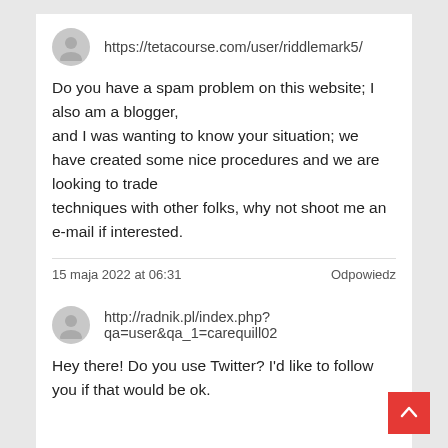https://tetacourse.com/user/riddlemark5/
Do you have a spam problem on this website; I also am a blogger, and I was wanting to know your situation; we have created some nice procedures and we are looking to trade techniques with other folks, why not shoot me an e-mail if interested.
15 maja 2022 at 06:31
Odpowiedz
http://radnik.pl/index.php? qa=user&qa_1=carequill02
Hey there! Do you use Twitter? I'd like to follow you if that would be ok.